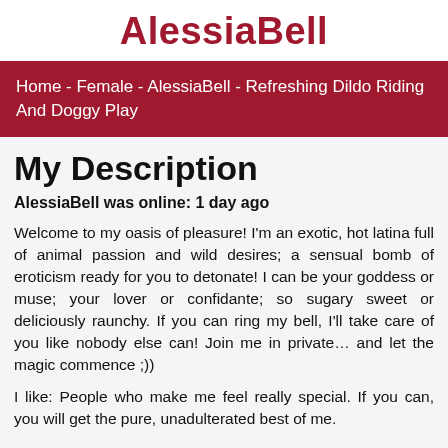AlessiaBell
Home - Female - AlessiaBell - Refreshing Dildo Riding And Doggy Play
My Description
AlessiaBell was online: 1 day ago
Welcome to my oasis of pleasure! I'm an exotic, hot latina full of animal passion and wild desires; a sensual bomb of eroticism ready for you to detonate! I can be your goddess or muse; your lover or confidante; so sugary sweet or deliciously raunchy. If you can ring my bell, I'll take care of you like nobody else can! Join me in private… and let the magic commence ;))
I like: People who make me feel really special. If you can, you will get the pure, unadulterated best of me.